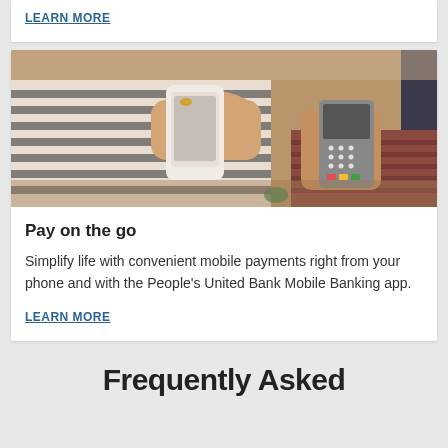LEARN MORE
[Figure (photo): A person in a striped sweater tapping a smartphone on a card payment terminal held by a merchant in a reddish knit sleeve]
Pay on the go
Simplify life with convenient mobile payments right from your phone and with the People's United Bank Mobile Banking app.
LEARN MORE
Frequently Asked